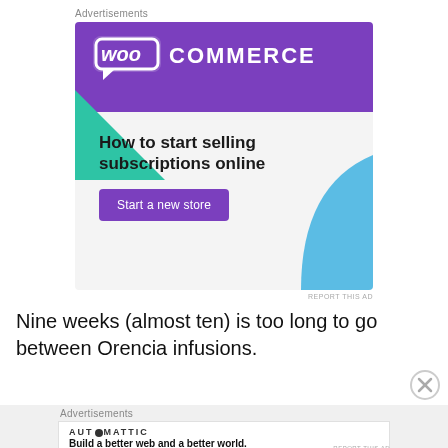[Figure (illustration): WooCommerce advertisement banner with purple header, WooCommerce logo, green triangle decoration, blue curved shape, text 'How to start selling subscriptions online', and a purple 'Start a new store' button]
Nine weeks (almost ten) is too long to go between Orencia infusions.
[Figure (illustration): Automattic advertisement: 'Build a better web and a better world.']